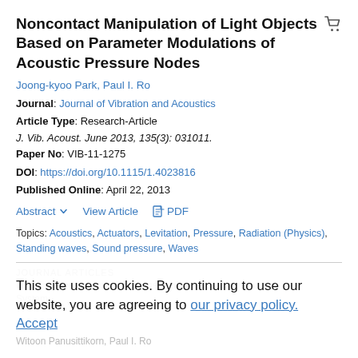Noncontact Manipulation of Light Objects Based on Parameter Modulations of Acoustic Pressure Nodes
Joong-kyoo Park, Paul I. Ro
Journal: Journal of Vibration and Acoustics
Article Type: Research-Article
J. Vib. Acoust. June 2013, 135(3): 031011.
Paper No: VIB-11-1275
DOI: https://doi.org/10.1115/1.4023816
Published Online: April 22, 2013
Abstract   View Article   PDF
Topics: Acoustics, Actuators, Levitation, Pressure, Radiation (Physics), Standing waves, Sound pressure, Waves
JOURNAL ARTICLES
This site uses cookies. By continuing to use our website, you are agreeing to our privacy policy. Accept